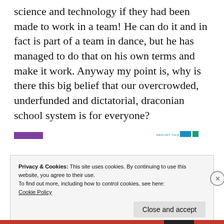science and technology if they had been made to work in a team! He can do it and in fact is part of a team in dance, but he has managed to do that on his own terms and make it work. Anyway my point is, why is there this big belief that our overcrowded, underfunded and dictatorial, draconian school system is for everyone?
[Figure (other): Partial advertisement banner with purple left element and blue 'REPORT THIS AD' label on the right]
Privacy & Cookies: This site uses cookies. By continuing to use this website, you agree to their use.
To find out more, including how to control cookies, see here:
Cookie Policy
Close and accept